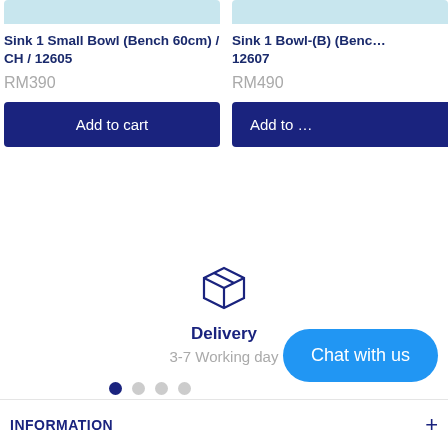[Figure (screenshot): Product image strip for Sink 1 Small Bowl (Bench 60cm) / CH / 12605]
Sink 1 Small Bowl (Bench 60cm) / CH / 12605
RM390
Add to cart
[Figure (screenshot): Product image strip for Sink 1 Bowl-(B) (Bench ...) 12607]
Sink 1 Bowl-(B) (Benc... 12607
RM490
Add to
[Figure (illustration): Box/package delivery icon in dark navy blue outline style]
Delivery
3-7 Working day
Chat with us
INFORMATION